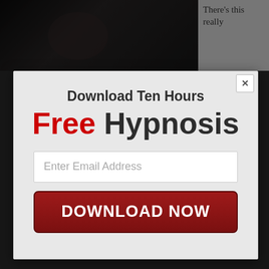[Figure (screenshot): Dark background webpage with partially visible photo and text on the right side reading 'There's this really']
Download Ten Hours Free Hypnosis
Enter Email Address
DOWNLOAD NOW